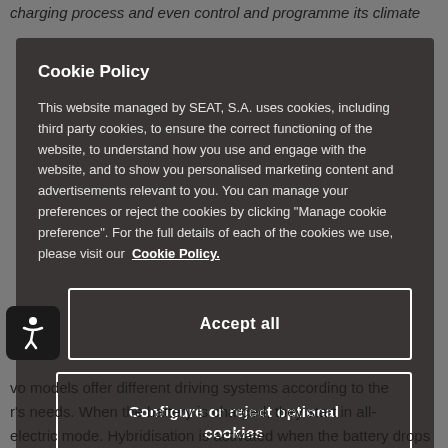charging process and even control and programme its climate
Cookie Policy
This website managed by SEAT, S.A. uses cookies, including third party cookies, to ensure the correct functioning of the website, to understand how you use and engage with the website, and to show you personalised marketing content and advertisements relevant to you. You can manage your preferences or reject the cookies by clicking "Manage cookie preference". For the full details of each of the cookies we use, please visit our Cookie Policy.
Accept all
Configure or reject optional cookies
vo models offer different driving systems according to the r's needs. When the battery is charged, they start in all-electric mode. Hybridisation is activated when the battery drops